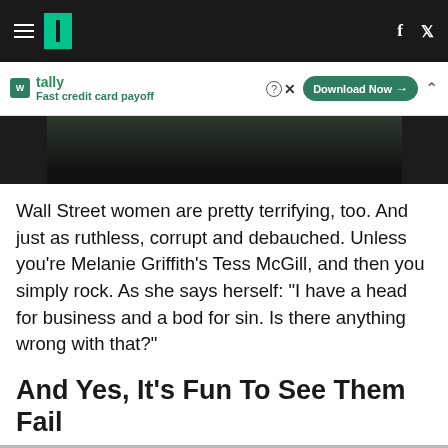HuffPost navigation header with hamburger menu, logo, facebook and twitter icons
[Figure (screenshot): Tally app advertisement banner: tally logo, 'Fast credit card payoff', Download Now button, close and help icons]
[Figure (photo): Dark image strip showing partial figures, appears to be a movie still with dark tones]
Wall Street women are pretty terrifying, too. And just as ruthless, corrupt and debauched. Unless you're Melanie Griffith's Tess McGill, and then you simply rock. As she says herself: "I have a head for business and a bod for sin. Is there anything wrong with that?"
And Yes, It's Fun To See Them Fail